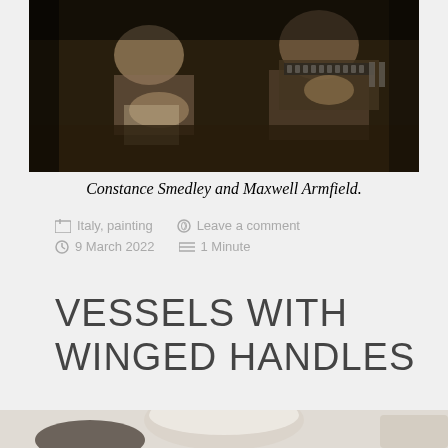[Figure (photo): Sepia-toned vintage photograph of two people at a table, one writing and one with a typewriter or instrument]
Constance Smedley and Maxwell Armfield.
Italy, painting   Leave a comment   9 March 2022   1 Minute
VESSELS WITH WINGED HANDLES
[Figure (photo): Partial view of a vessel or ceramic object, bottom of page]